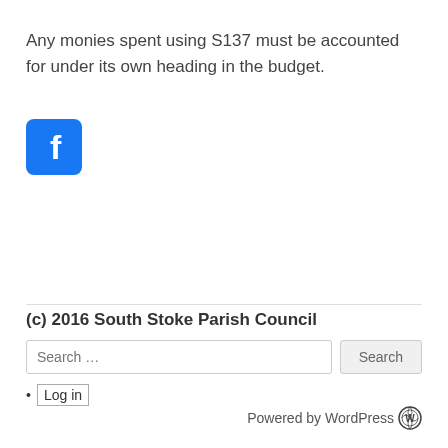Any monies spent using S137 must be accounted for under its own heading in the budget.
[Figure (logo): Facebook logo icon — blue rounded square with white 'f' letter]
(c) 2016 South Stoke Parish Council
Search ...
Log in
Powered by WordPress